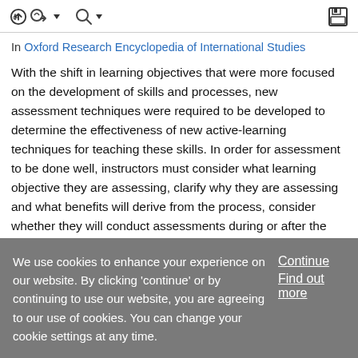toolbar with navigation and search icons
In Oxford Research Encyclopedia of International Studies
With the shift in learning objectives that were more focused on the development of skills and processes, new assessment techniques were required to be developed to determine the effectiveness of new active-learning techniques for teaching these skills. In order for assessment to be done well, instructors must consider what learning objective they are assessing, clarify why they are assessing and what benefits will derive from the process, consider whether they will conduct assessments during or after the
We use cookies to enhance your experience on our website. By clicking 'continue' or by continuing to use our website, you are agreeing to our use of cookies. You can change your cookie settings at any time.
Continue
Find out more